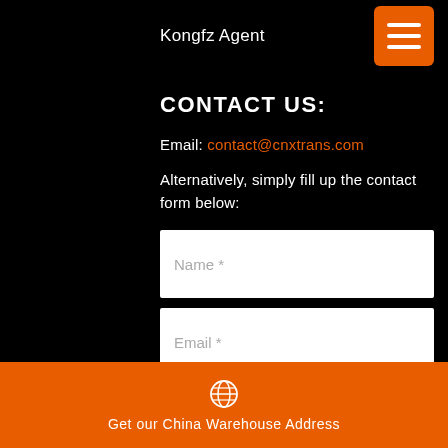Kongfz Agent
CONTACT US:
Email: contact@cnxtrans.com
Alternatively, simply fill up the contact form below:
[Figure (screenshot): Contact form with fields: Name *, Email *, What will you be shipping? *, Total estimated value of your goods (USD) *]
Get our China Warehouse Address